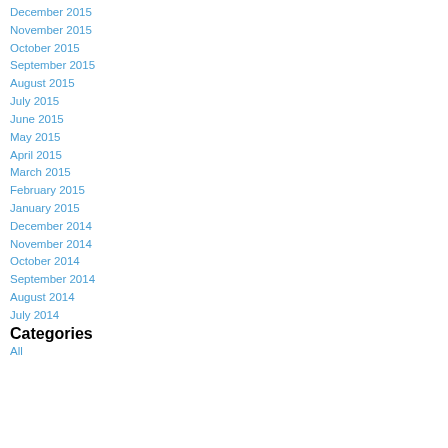December 2015
November 2015
October 2015
September 2015
August 2015
July 2015
June 2015
May 2015
April 2015
March 2015
February 2015
January 2015
December 2014
November 2014
October 2014
September 2014
August 2014
July 2014
Categories
All